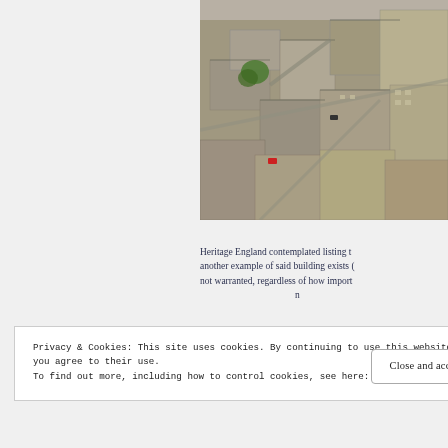[Figure (photo): Aerial photograph of a British town centre showing stone-built historic buildings, rooftops, streets, and a red vehicle visible among the roads.]
Heritage England contemplated listing t… another example of said building exists (… not warranted, regardless of how import… n…
Privacy & Cookies: This site uses cookies. By continuing to use this website, you agree to their use.
To find out more, including how to control cookies, see here: Cookie Policy
Close and accept